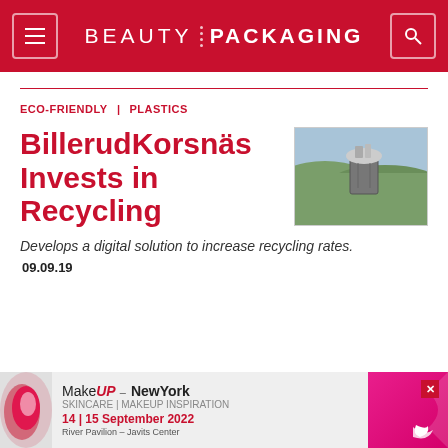BEAUTY PACKAGING
ECO-FRIENDLY | PLASTICS
[Figure (photo): Overflowing trash bin in an outdoor field or wetland area]
BillerudKorsnäs Invests in Recycling
Develops a digital solution to increase recycling rates.
09.09.19
[Figure (infographic): MakeUP in NewYork advertisement banner — 14|15 September 2022, River Pavilion – Javits Center]